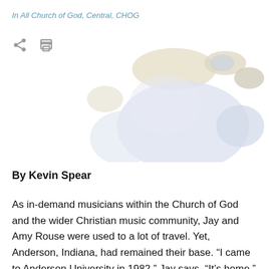In All Church of God, Central, CHOG
[Figure (photo): Blurred/redacted photo of people, shown as colored blobs]
By Kevin Spear
As in-demand musicians within the Church of God and the wider Christian music community, Jay and Amy Rouse were used to a lot of travel. Yet, Anderson, Indiana, had remained their base. “I came to Anderson University in 1982,” Jay says. “It’s home.”
After college, the Rouses stayed busy raising a family while maintaining an active calendar. Jay worked with the Gaithers, many of the Homecoming artists, Veritas, and many others. He has been Sandi Patty’s music director, as well as the vice president of